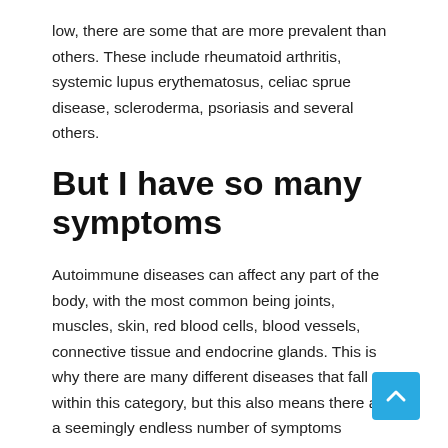low, there are some that are more prevalent than others. These include rheumatoid arthritis, systemic lupus erythematosus, celiac sprue disease, scleroderma, psoriasis and several others.
But I have so many symptoms
Autoimmune diseases can affect any part of the body, with the most common being joints, muscles, skin, red blood cells, blood vessels, connective tissue and endocrine glands. This is why there are many different diseases that fall within this category, but this also means there are a seemingly endless number of symptoms associated with such diseases. Some of the most common symptoms are fatigue, fever, and a general feeling of being unwell.
Unfortunately, the vast range of somewhat non-descript symptoms means that the average person who regularly turns to the internet to look up their ailments online has probably self-diagnosed themselves with an autoimmune disease.